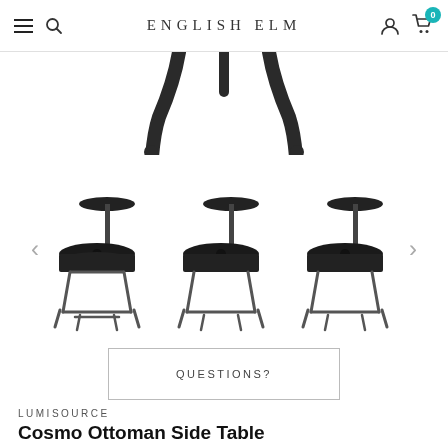ENGLISH ELM
[Figure (photo): Close-up of black metal furniture legs/frame from below, partially cropped at top of page]
[Figure (photo): Product carousel showing three views of the Cosmo Ottoman Side Table — a dark round upholstered ottoman with a black metal frame and attached round side table tray, shown from front and slight angles. Navigation arrows on left and right.]
QUESTIONS?
LUMISOURCE
Cosmo Ottoman Side Table